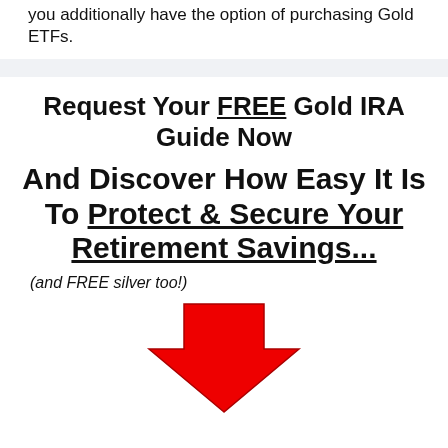you additionally have the option of purchasing Gold ETFs.
Request Your FREE Gold IRA Guide Now
And Discover How Easy It Is To Protect & Secure Your Retirement Savings...
(and FREE silver too!)
[Figure (illustration): Large red downward-pointing arrow]